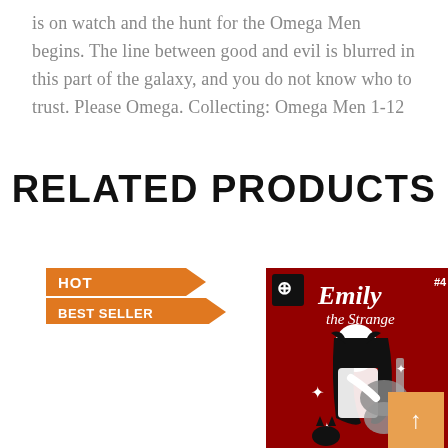is on watch and the hunt for the Omega Men begins. The line between good and evil is blurred in this part of the galaxy, and you do not know who to trust. Please Omega. Collecting: Omega Men 1-12
RELATED PRODUCTS
[Figure (photo): Emily the Strange comic book cover #4, featuring a girl with long black hair playing an electric guitar, with red and black background with skull and pattern imagery, and the title 'Emily the Strange' in white text. A 'HOT BEST SELLER' orange badge is overlaid on the lower left of the image.]